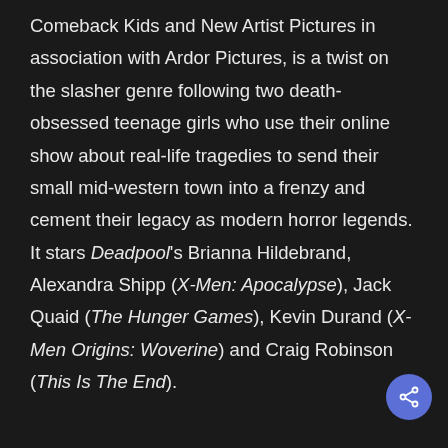Comeback Kids and New Artist Pictures in association with Ardor Pictures, is a twist on the slasher genre following two death-obsessed teenage girls who use their online show about real-life tragedies to send their small mid-western town into a frenzy and cement their legacy as modern horror legends. It stars Deadpool's Brianna Hildebrand, Alexandra Shipp (X-Men: Apocalypse), Jack Quaid (The Hunger Games), Kevin Durand (X-Men Origins: Woverine) and Craig Robinson (This Is The End).